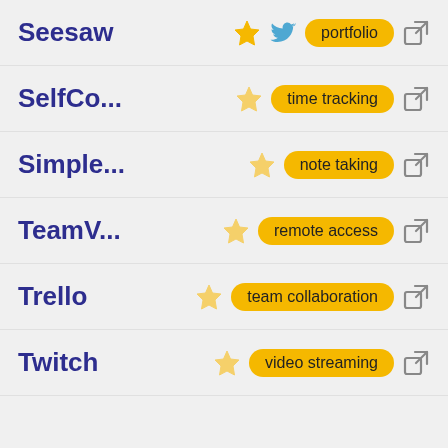Seesaw | portfolio
SelfCo... | time tracking
Simple... | note taking
TeamV... | remote access
Trello | team collaboration
Twitch | video streaming